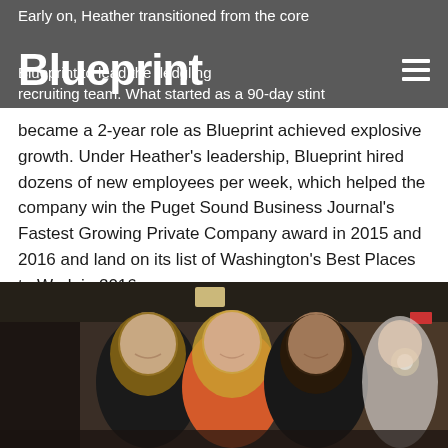Blueprint
Early on, Heather transitioned from the core Blueprint team at Blueprint to lead the fledgling recruiting team. What started as a 90-day stint became a 2-year role as Blueprint achieved explosive growth. Under Heather's leadership, Blueprint hired dozens of new employees per week, which helped the company win the Puget Sound Business Journal's Fastest Growing Private Company award in 2015 and 2016 and land on its list of Washington's Best Places to Work in 2016.
[Figure (photo): Three women smiling and posing together at what appears to be an indoor event venue with warm lighting and brick/wood architectural elements in the background.]